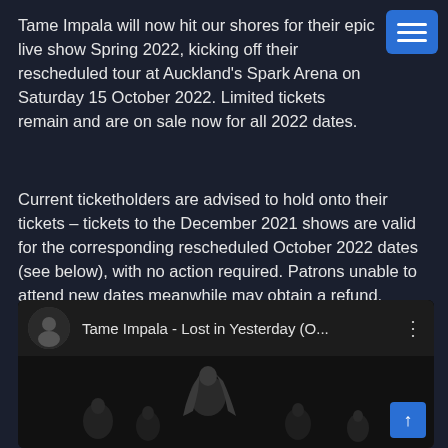Tame Impala will now hit our shores for their epic live show Spring 2022, kicking off their rescheduled tour at Auckland's Spark Arena on Saturday 15 October 2022. Limited tickets remain and are on sale now for all 2022 dates.
Current ticketholders are advised to hold onto their tickets – tickets to the December 2021 shows are valid for the corresponding rescheduled October 2022 dates (see below), with no action required. Patrons unable to attend new dates meanwhile may obtain a refund. Refund requests must be submitted prior to Friday 22 October – for AU shows, please follow the steps in the link here. #keepyourtickets
[Figure (screenshot): Embedded YouTube video player showing 'Tame Impala - Lost in Yesterday (O...' with a circular avatar thumbnail on the left, video title in the center, three-dot menu on the right, and a dark video thumbnail below showing a person.]